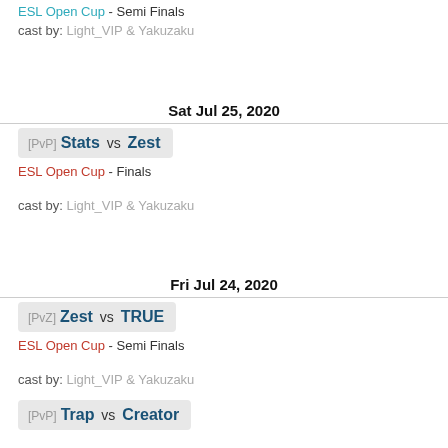ESL Open Cup - Semi Finals
cast by: Light_VIP & Yakuzaku
Sat Jul 25, 2020
[PvP] Stats vs Zest
ESL Open Cup - Finals
cast by: Light_VIP & Yakuzaku
Fri Jul 24, 2020
[PvZ] Zest vs TRUE
ESL Open Cup - Semi Finals
cast by: Light_VIP & Yakuzaku
[PvP] Trap vs Creator